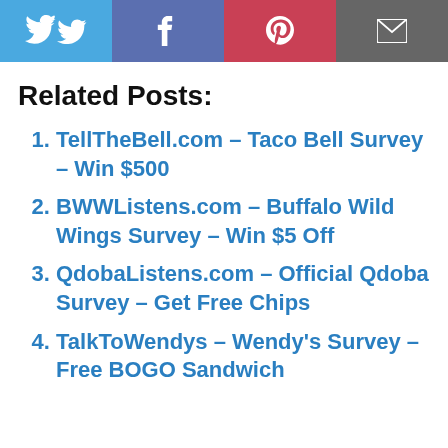[Figure (other): Social sharing buttons bar with Twitter, Facebook, Pinterest, and Email icons]
Related Posts:
TellTheBell.com – Taco Bell Survey – Win $500
BWWListens.com – Buffalo Wild Wings Survey – Win $5 Off
QdobaListens.com – Official Qdoba Survey – Get Free Chips
TalkToWendys – Wendy's Survey – Free BOGO Sandwich